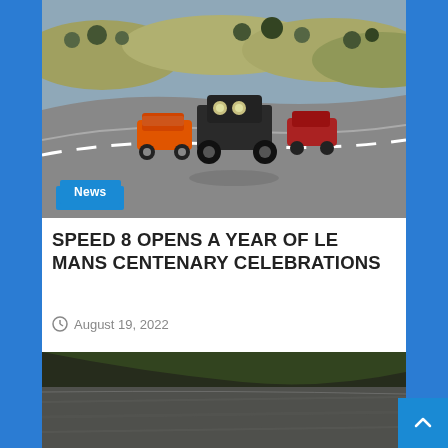[Figure (photo): Multiple cars including a vintage black car in the foreground and a modern orange Bentley, driving on a racing track with hills and trees in the background under sunny conditions.]
News
SPEED 8 OPENS A YEAR OF LE MANS CENTENARY CELEBRATIONS
August 19, 2022
[Figure (photo): Close-up blurred motion shot of a racing track surface with green grass visible, suggesting high-speed motion.]